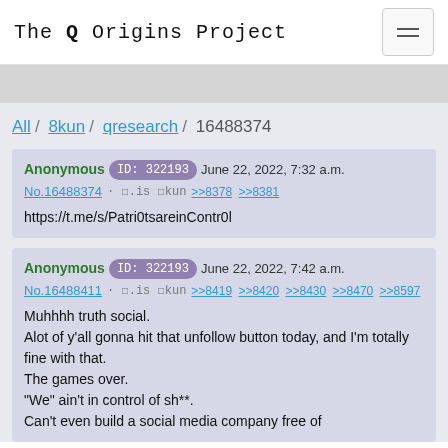The Q Origins Project
All / 8kun / qresearch / 16488374
Anonymous ID: 322193 June 22, 2022, 7:32 a.m.
No.16488374 · ☐.is ☐kun >>8378 >>8381
https://t.me/s/Patri0tsareinContr0l
Anonymous ID: 322193 June 22, 2022, 7:42 a.m.
No.16488411 · ☐.is ☐kun >>8419 >>8420 >>8430 >>8470 >>8597
Muhhhh truth social.
Alot of y'all gonna hit that unfollow button today, and I'm totally fine with that.
The games over.
"We" ain't in control of sh**.
Can't even build a social media company free of